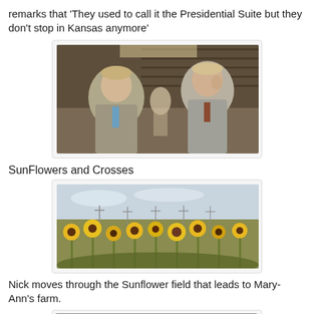remarks that 'They used to call it the Presidential Suite but they don't stop in Kansas anymore'
[Figure (photo): Two men in suits standing inside what appears to be a hotel lobby or bar area, one wearing a blue tie and grey jacket, the other in a jacket with a brown/red tie.]
SunFlowers and Crosses
[Figure (photo): A wide field of sunflowers under an open sky with utility poles or crosses visible in the background.]
Nick moves through the Sunflower field that leads to Mary-Ann's farm.
[Figure (photo): Partial view of another image, cut off at bottom of page.]